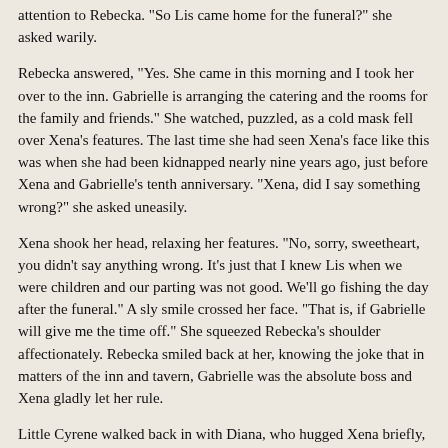attention to Rebecka. "So Lis came home for the funeral?" she asked warily.
Rebecka answered, "Yes. She came in this morning and I took her over to the inn. Gabrielle is arranging the catering and the rooms for the family and friends." She watched, puzzled, as a cold mask fell over Xena's features. The last time she had seen Xena's face like this was when she had been kidnapped nearly nine years ago, just before Xena and Gabrielle's tenth anniversary. "Xena, did I say something wrong?" she asked uneasily.
Xena shook her head, relaxing her features. "No, sorry, sweetheart, you didn't say anything wrong. It's just that I knew Lis when we were children and our parting was not good. We'll go fishing the day after the funeral." A sly smile crossed her face. "That is, if Gabrielle will give me the time off." She squeezed Rebecka's shoulder affectionately. Rebecka smiled back at her, knowing the joke that in matters of the inn and tavern, Gabrielle was the absolute boss and Xena gladly let her rule.
Little Cyrene walked back in with Diana, who hugged Xena briefly, then said, "I think we're supposed to be over in another hour. The shop will be closing soon, but I need to talk to Agathon a few minutes before we can leave."
"Okay, see you there. Bye girls, see you in a bit." Cyrene ran back